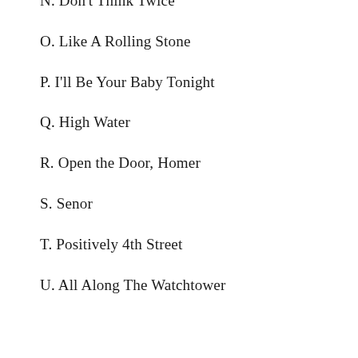N.  Don't Think Twice
O.  Like A Rolling Stone
P.  I'll Be Your Baby Tonight
Q.  High Water
R.  Open the Door, Homer
S.  Senor
T.  Positively 4th Street
U.  All Along The Watchtower